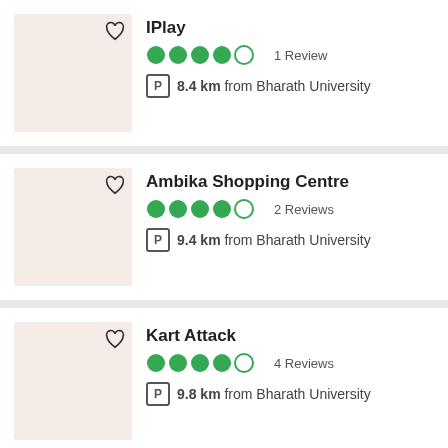IPlay
4 out of 5 stars · 1 Review
P 8.4 km from Bharath University
Ambika Shopping Centre
4 out of 5 stars · 2 Reviews
P 9.4 km from Bharath University
Kart Attack
4 out of 5 stars · 4 Reviews
P 9.8 km from Bharath University